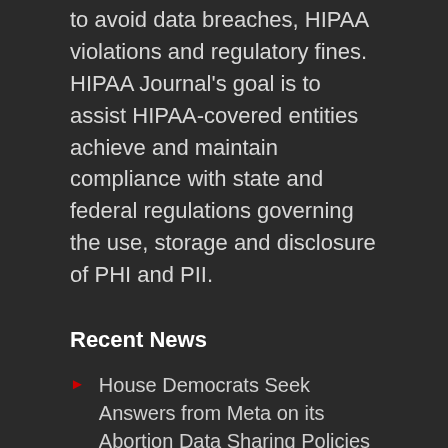to avoid data breaches, HIPAA violations and regulatory fines. HIPAA Journal's goal is to assist HIPAA-covered entities achieve and maintain compliance with state and federal regulations governing the use, storage and disclosure of PHI and PII.
Recent News
House Democrats Seek Answers from Meta on its Abortion Data Sharing Policies
California Legislature Passes